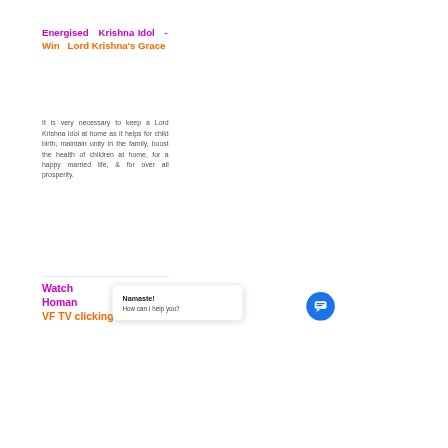Energised Krishna Idol - Win Lord Krishna's Grace
It is very necessary to keep a Lord Krishna Idol at home as it helps for child birth, maintain unity in the family, boost the health of children at home, for a happy married life, & for over all prosperity.
Watch Homan VF TV clicking on
Namaste! How can I help you?